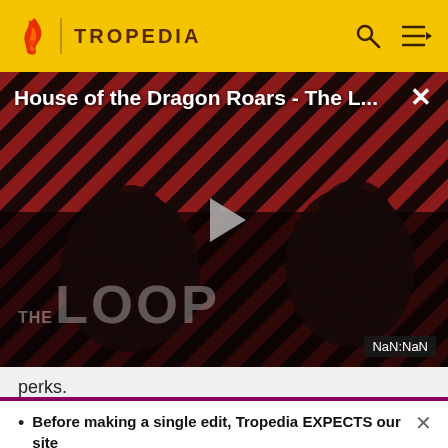TROPEDIA
[Figure (screenshot): Tropedia video player showing 'House of the Dragon Roars - The L...' with a play button, diagonal red/black striped background, THE LOOP branding, two dark silhouetted figures, and NaN:NaN timestamp indicator]
perks.
Before making a single edit, Tropedia EXPECTS our site policy and manual of style to be followed. Failure to do so may
READ MORE